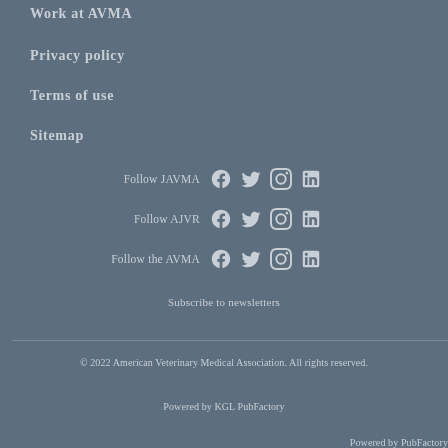Work at AVMA
Privacy policy
Terms of use
Sitemap
Follow JAVMA [facebook] [twitter] [instagram] [linkedin]
Follow AJVR [facebook] [twitter] [instagram] [linkedin]
Follow the AVMA [facebook] [twitter] [instagram] [linkedin]
Subscribe to newsletters
© 2022 American Veterinary Medical Association. All rights reserved.
Powered by KGL PubFactory
Powered by PubFactory